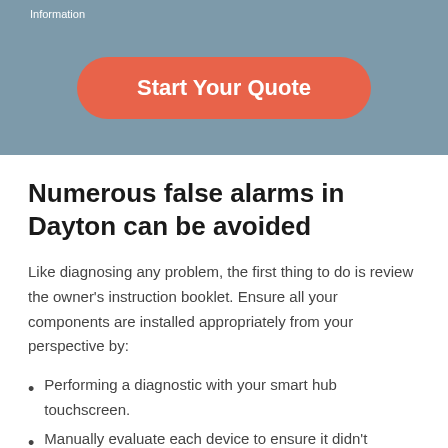Information
[Figure (other): Orange rounded button labeled 'Start Your Quote' on a steel-blue banner background]
Numerous false alarms in Dayton can be avoided
Like diagnosing any problem, the first thing to do is review the owner's instruction booklet. Ensure all your components are installed appropriately from your perspective by:
Performing a diagnostic with your smart hub touchscreen.
Manually evaluate each device to ensure it didn't become dislodged or need fresh batteries.